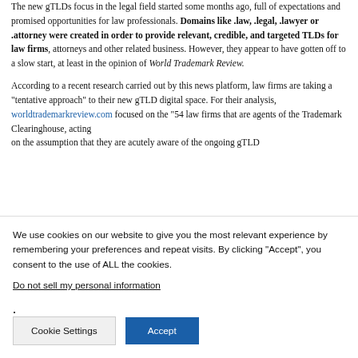The new gTLDs focus in the legal field started some months ago, full of expectations and promised opportunities for law professionals. Domains like .law, .legal, .lawyer or .attorney were created in order to provide relevant, credible, and targeted TLDs for law firms, attorneys and other related business. However, they appear to have gotten off to a slow start, at least in the opinion of World Trademark Review.
According to a recent research carried out by this news platform, law firms are taking a “tentative approach” to their new gTLD digital space. For their analysis, worldtrademarkreview.com focused on the “54 law firms that are agents of the Trademark Clearinghouse, acting on the assumption that they are acutely aware of the ongoing gTLD...
We use cookies on our website to give you the most relevant experience by remembering your preferences and repeat visits. By clicking “Accept”, you consent to the use of ALL the cookies.
Do not sell my personal information.